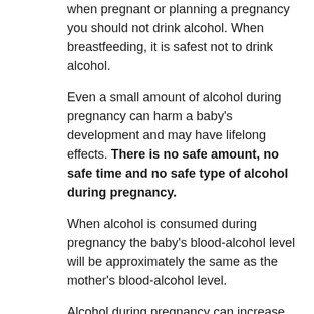when pregnant or planning a pregnancy you should not drink alcohol. When breastfeeding, it is safest not to drink alcohol.
Even a small amount of alcohol during pregnancy can harm a baby's development and may have lifelong effects. There is no safe amount, no safe time and no safe type of alcohol during pregnancy.
When alcohol is consumed during pregnancy the baby's blood-alcohol level will be approximately the same as the mother's blood-alcohol level.
Alcohol during pregnancy can increase the risk of:
lower birth weights
miscarriage
stillbirth